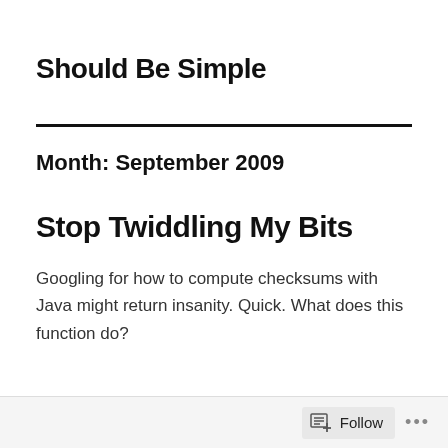Should Be Simple
Month: September 2009
Stop Twiddling My Bits
Googling for how to compute checksums with Java might return insanity. Quick. What does this function do?
Follow ...